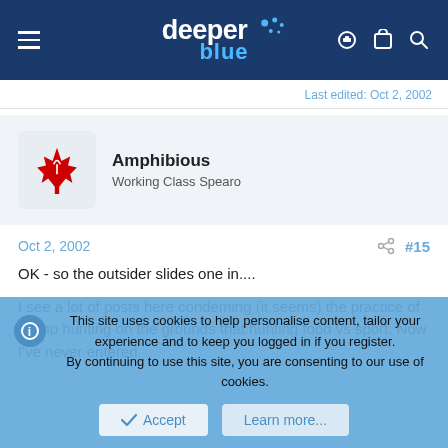deeper blue — navigation header
Last edited: Oct 2, 2002
Amphibious
Working Class Spearo
Oct 2, 2002  #15
OK - so the outsider slides one in....
I see a lot of posts here condeming (it seems) the practice of Comp hunting on the grounds that hunting food vs sport. Now I've never entered
This site uses cookies to help personalise content, tailor your experience and to keep you logged in if you register.
By continuing to use this site, you are consenting to our use of cookies.